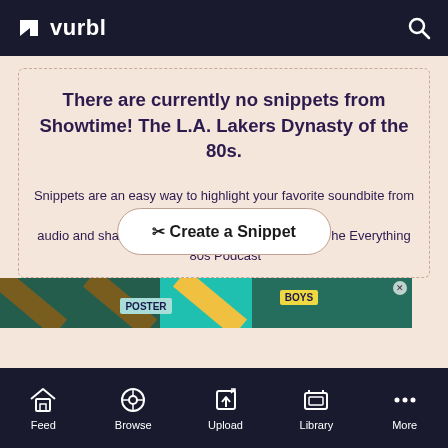vurbl
There are currently no snippets from Showtime! The L.A. Lakers Dynasty of the 80s.
Snippets are an easy way to highlight your favorite soundbite from any piece of audio and share with friends, or make a trailer for The Everything '80s Podcast
✂ Create a Snippet
[Figure (photo): Advertisement banner with colorful striped background and text 'POSTER' and 'BOYS']
Feed  Browse  Upload  Library  More